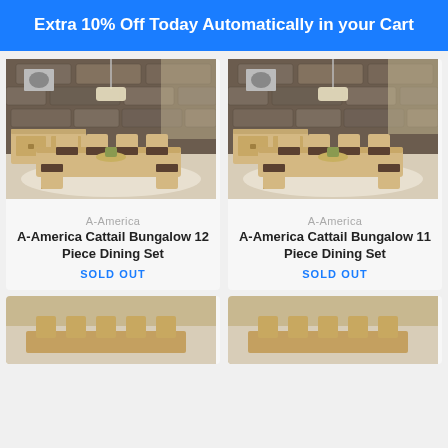Extra 10% Off Today Automatically in your Cart
[Figure (photo): Dining room set with light wood table and chairs against stone wall background - A-America Cattail Bungalow 12 Piece Dining Set]
A-America
A-America Cattail Bungalow 12 Piece Dining Set
SOLD OUT
[Figure (photo): Dining room set with light wood table and chairs against stone wall background - A-America Cattail Bungalow 11 Piece Dining Set]
A-America
A-America Cattail Bungalow 11 Piece Dining Set
SOLD OUT
[Figure (photo): Partial view of another dining set product card at bottom left]
[Figure (photo): Partial view of another dining set product card at bottom right]